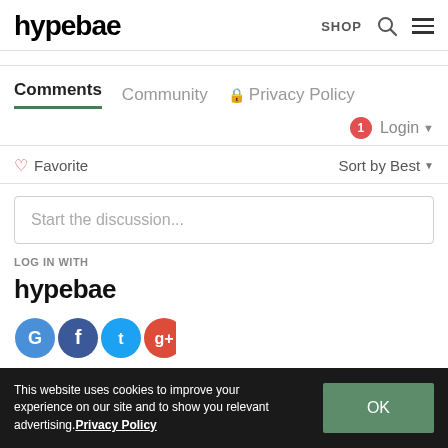hypebae | SHOP
Comments | Community | Privacy Policy
Login
Favorite | Sort by Best
Start the discussion...
LOG IN WITH
hypebae
[Figure (illustration): Four overlapping social login icon circles: Google (blue), Facebook (dark blue), Twitter (light blue), and Google+ (red)]
This website uses cookies to improve your experience on our site and to show you relevant advertising. Privacy Policy